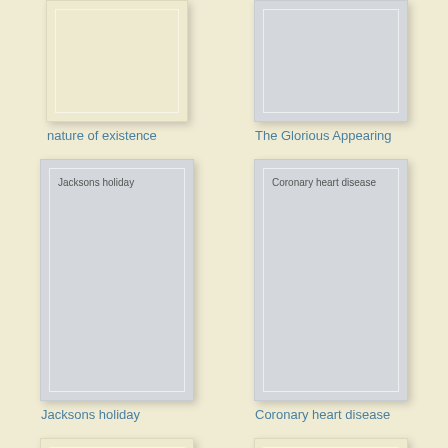[Figure (illustration): Partially visible book cover with cream/beige color, top of page]
[Figure (illustration): Partially visible book cover with gray color, top of page]
nature of existence
The Glorious Appearing
[Figure (illustration): Book cover gray with inner border and title 'Jacksons holiday']
[Figure (illustration): Book cover gray with inner border and title 'Coronary heart disease']
Jacksons holiday
Coronary heart disease
[Figure (illustration): Partially visible book cover with cream/beige color, bottom of page]
[Figure (illustration): Partially visible book cover with cream/beige color, bottom of page]